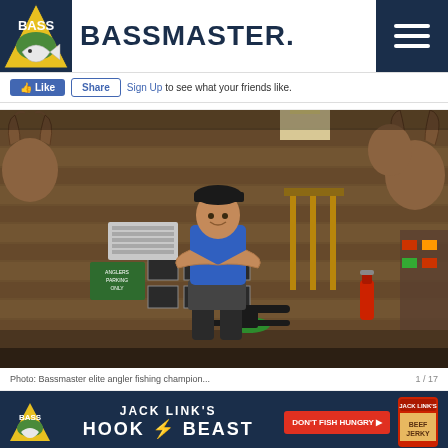BASSMASTER
Like  Share  Sign Up to see what your friends like.
[Figure (photo): Man standing with arms crossed in a trophy room/shed filled with mounted deer heads, framed photos, and sporting equipment]
Photo: Bassmaster elite angler fishing champion...
[Figure (infographic): Jack Link's Hook the Beast advertisement banner with Bass logo and Don't Fish Hungry CTA button]